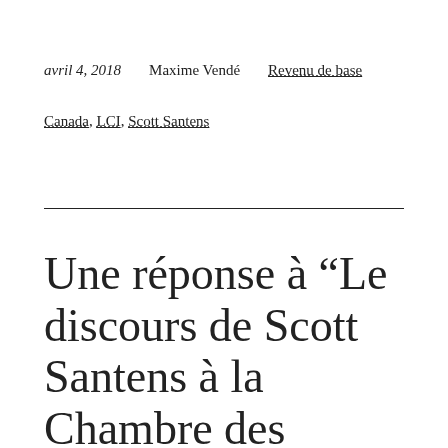avril 4, 2018    Maxime Vendé    Revenu de base
Canada, LCI, Scott Santens
Une réponse à “Le discours de Scott Santens à la Chambre des communes du Canada”